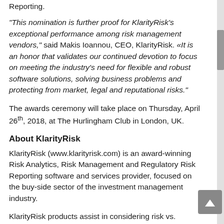Reporting.
“This nomination is further proof for KlarityRisk’s exceptional performance among risk management vendors,” said Makis Ioannou, CEO, KlarityRisk. «It is an honor that validates our continued devotion to focus on meeting the industry’s need for flexible and robust software solutions, solving business problems and protecting from market, legal and reputational risks.”
The awards ceremony will take place on Thursday, April 26th, 2018, at The Hurlingham Club in London, UK.
About KlarityRisk
KlarityRisk (www.klarityrisk.com) is an award-winning Risk Analytics, Risk Management and Regulatory Risk Reporting software and services provider, focused on the buy-side sector of the investment management industry.
KlarityRisk products assist in considering risk vs. reward in fund performance and regulatory risk reporting with a